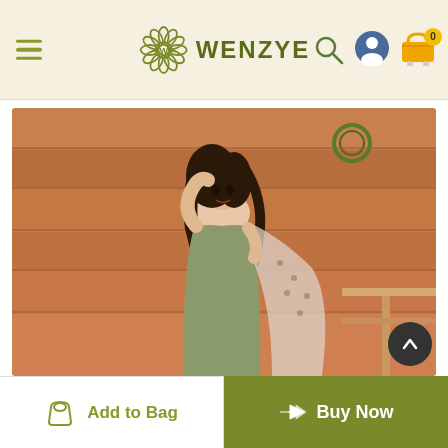WENZYE
[Figure (photo): A woman wearing a sage green anarkali gown with a sheer dupatta, standing in front of a wooden wall background]
Add to Bag
Buy Now